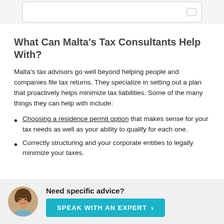[Figure (screenshot): Partial top image showing a white rounded box with a small checkbox on the right side, on a light grey background]
What Can Malta's Tax Consultants Help With?
Malta's tax advisors go well beyond helping people and companies file tax returns. They specialize in setting out a plan that proactively helps minimize tax liabilities. Some of the many things they can help with include:
Choosing a residence permit option that makes sense for your tax needs as well as your ability to qualify for each one.
Correctly structuring and your corporate entities to legally minimize your taxes.
[Figure (photo): Round avatar photo of a woman]
Need specific advice?
SPEAK WITH AN EXPERT >